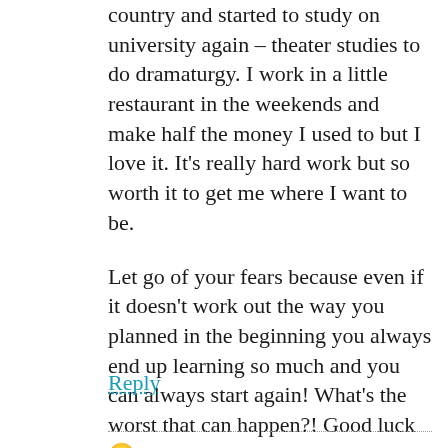country and started to study on university again – theater studies to do dramaturgy. I work in a little restaurant in the weekends and make half the money I used to but I love it. It's really hard work but so worth it to get me where I want to be.

Let go of your fears because even if it doesn't work out the way you planned in the beginning you always end up learning so much and you can always start again! What's the worst that can happen?! Good luck 🙂
Reply